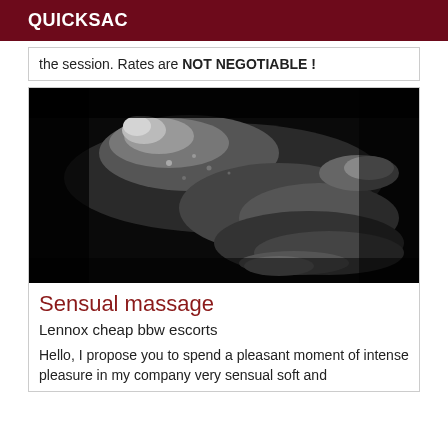QUICKSAC
the session. Rates are NOT NEGOTIABLE !
[Figure (photo): Black and white artistic photo of a person lying down, sensual lighting]
Sensual massage
Lennox cheap bbw escorts
Hello, I propose you to spend a pleasant moment of intense pleasure in my company very sensual soft and